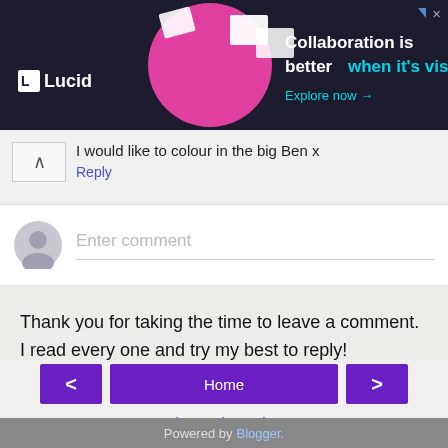[Figure (screenshot): Lucid advertisement banner: dark background with Lucid logo, woman with pink circle background, text 'Collaboration is better when it's visual. Explore now →']
I would like to colour in the big Ben x
Reply
[Figure (screenshot): Comment input area with user avatar and 'Enter comment' placeholder text]
Thank you for taking the time to leave a comment.
I read every one and try my best to reply!
[Figure (screenshot): Navigation buttons: left arrow, Home, right arrow]
View web version
Powered by Blogger.